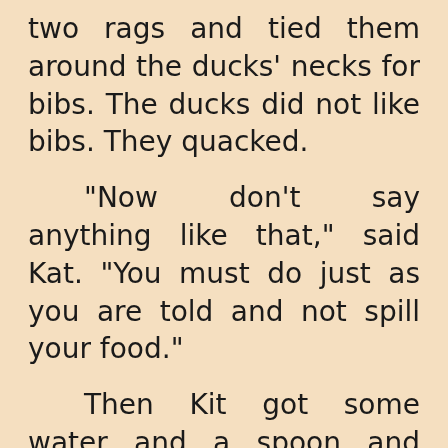two rags and tied them around the ducks' necks for bibs. The ducks did not like bibs. They quacked.

"Now don't say anything like that," said Kat. "You must do just as you are told and not spill your food."

Then Kit got some water and a spoon and gave the Twins a drink, but they did not like the drink either.